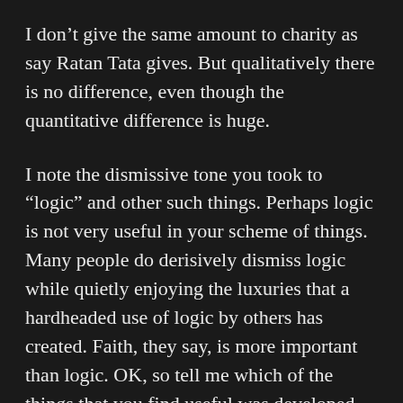I don't give the same amount to charity as say Ratan Tata gives. But qualitatively there is no difference, even though the quantitative difference is huge.
I note the dismissive tone you took to “logic” and other such things. Perhaps logic is not very useful in your scheme of things. Many people do derisively dismiss logic while quietly enjoying the luxuries that a hardheaded use of logic by others has created. Faith, they say, is more important than logic. OK, so tell me which of the things that you find useful was developed and created by faith? Let me put that in a different way: imagine a poor person who has little